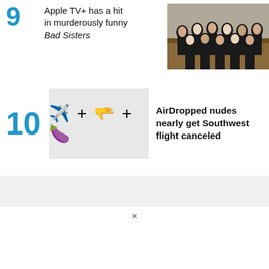9 Apple TV+ has a hit in murderously funny Bad Sisters
[Figure (photo): Group of women dressed in black standing together, from the TV show Bad Sisters]
10 AirDropped nudes nearly get Southwest flight canceled
[Figure (infographic): Illustration showing airplane emoji + AirDrop icon + eggplant emoji on gray background]
[Figure (other): Gray advertisement bar]